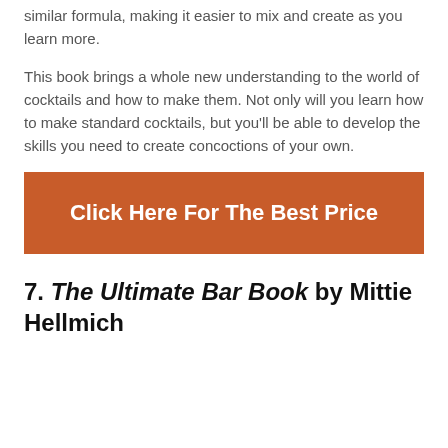similar formula, making it easier to mix and create as you learn more.
This book brings a whole new understanding to the world of cocktails and how to make them. Not only will you learn how to make standard cocktails, but you'll be able to develop the skills you need to create concoctions of your own.
[Figure (other): Orange/brown CTA button reading 'Click Here For The Best Price']
7. The Ultimate Bar Book by Mittie Hellmich